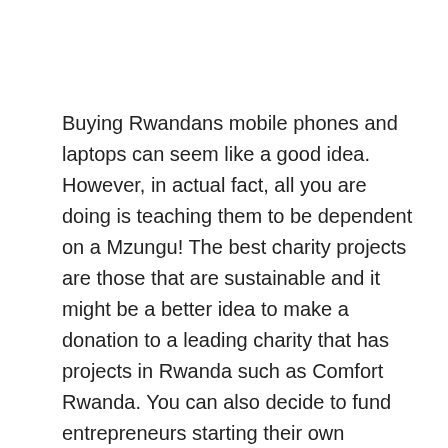Buying Rwandans mobile phones and laptops can seem like a good idea. However, in actual fact, all you are doing is teaching them to be dependent on a Mzungu! The best charity projects are those that are sustainable and it might be a better idea to make a donation to a leading charity that has projects in Rwanda such as Comfort Rwanda. You can also decide to fund entrepreneurs starting their own businesses by offering to buy tools.